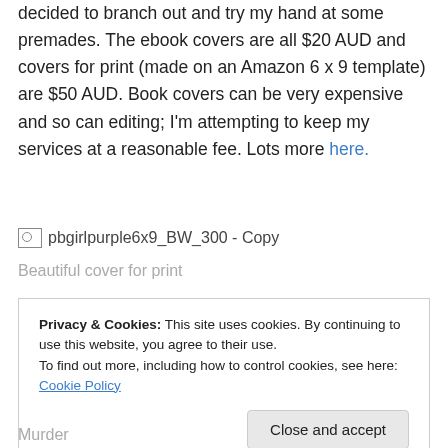decided to branch out and try my hand at some premades. The ebook covers are all $20 AUD and covers for print (made on an Amazon 6 x 9 template) are $50 AUD. Book covers can be very expensive and so can editing; I'm attempting to keep my services at a reasonable fee. Lots more here.
[Figure (photo): Broken image placeholder with filename text: pbgirlpurple6x9_BW_300 - Copy]
Beautiful cover for print
Privacy & Cookies: This site uses cookies. By continuing to use this website, you agree to their use. To find out more, including how to control cookies, see here: Cookie Policy
Close and accept
Murder